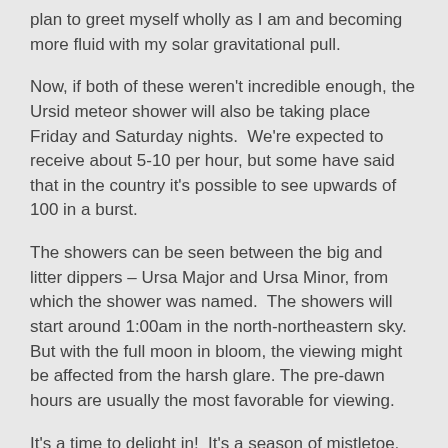plan to greet myself wholly as I am and becoming more fluid with my solar gravitational pull.
Now, if both of these weren't incredible enough, the Ursid meteor shower will also be taking place Friday and Saturday nights.  We're expected to receive about 5-10 per hour, but some have said that in the country it's possible to see upwards of 100 in a burst.
The showers can be seen between the big and litter dippers – Ursa Major and Ursa Minor, from which the shower was named.  The showers will start around 1:00am in the north-northeastern sky.  But with the full moon in bloom, the viewing might be affected from the harsh glare. The pre-dawn hours are usually the most favorable for viewing.
It's a time to delight in!  It's a season of mistletoe, cinnamon, nutmeg, deep reds and lush greens, pine cones and wood.  It's rich and earthly everywhere and the warmth of the people are